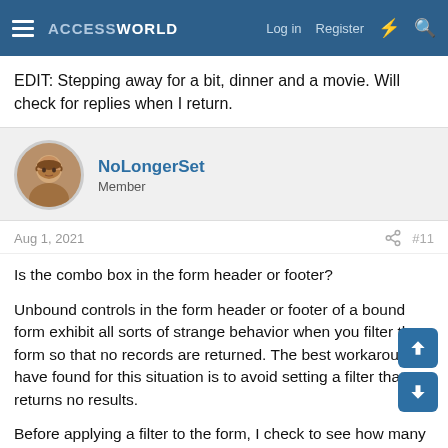ACCESSWORLD | Log in | Register
EDIT: Stepping away for a bit, dinner and a movie. Will check for replies when I return.
NoLongerSet
Member
Aug 1, 2021  #11
Is the combo box in the form header or footer?

Unbound controls in the form header or footer of a bound form exhibit all sorts of strange behavior when you filter the form so that no records are returned. The best workaround I have found for this situation is to avoid setting a filter that returns no results.

Before applying a filter to the form, I check to see how many results it will return. If it will return no records, then I hide the Detail section and Navigation Buttons. Otherwise, I apply the